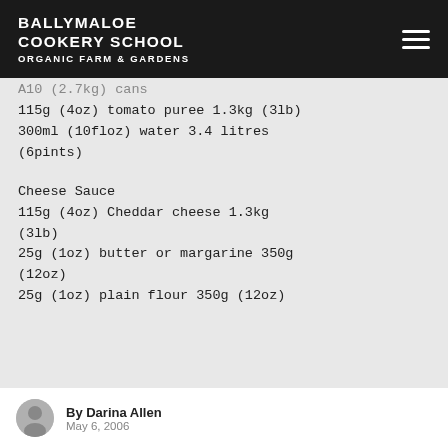BALLYMALOE COOKERY SCHOOL ORGANIC FARM & GARDENS
A10 (2.7kg) cans
115g (4oz) tomato puree 1.3kg (3lb)
300ml (10floz) water 3.4 litres (6pints)
Cheese Sauce
115g (4oz) Cheddar cheese 1.3kg (3lb)
25g (1oz) butter or margarine 350g (12oz)
25g (1oz) plain flour 350g (12oz)
By Darina Allen
May 6, 2006